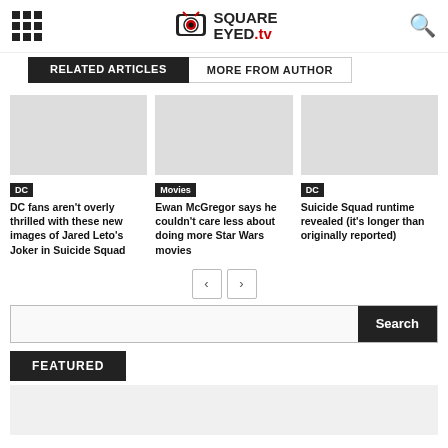Square Eyed TV — navigation header with grid menu, logo, and search icon
RELATED ARTICLES | MORE FROM AUTHOR
[Figure (other): Blank image placeholder for DC article]
DC
DC fans aren't overly thrilled with these new images of Jared Leto's Joker in Suicide Squad
[Figure (other): Blank image placeholder for Movies article]
Movies
Ewan McGregor says he couldn't care less about doing more Star Wars movies
[Figure (other): Blank image placeholder for DC article]
DC
Suicide Squad runtime revealed (it's longer than originally reported)
FEATURED